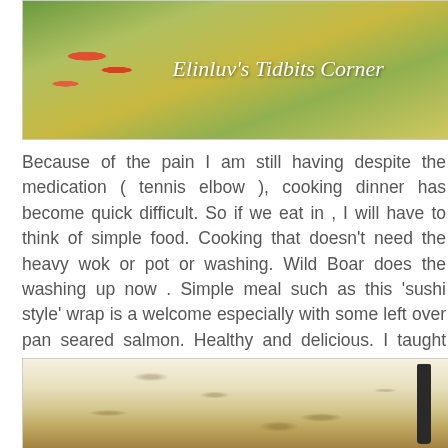[Figure (photo): Header image of a wrap/sushi-style roll with vegetables, with decorative text overlay reading "Elinluv's Tidbits Corner"]
Because of the pain I am still having despite the medication ( tennis elbow ), cooking dinner has become quick difficult.  So if we eat in , I will have to think of simple food.  Cooking that doesn't need the heavy wok or pot or washing.  Wild Boar does the washing up now .  Simple meal such as this 'sushi style' wrap is a welcome especially with some left over pan seared salmon.  Healthy and delicious.  I taught Wild Boar how to roll the wraps.  He did a pretty job and I get to eat the rolls without the fillings dropping out :p
[Figure (photo): Photo of a flatbread or wrap/chapati on a white plate with a knife beside it, viewed from above]